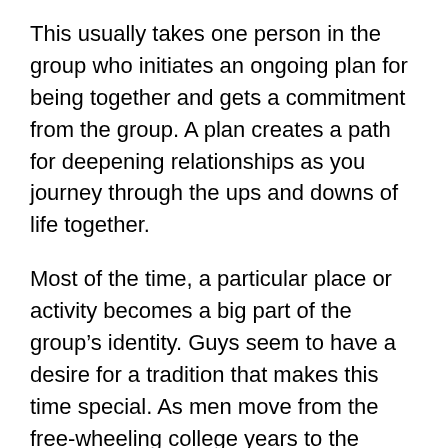This usually takes one person in the group who initiates an ongoing plan for being together and gets a commitment from the group. A plan creates a path for deepening relationships as you journey through the ups and downs of life together.
Most of the time, a particular place or activity becomes a big part of the group's identity. Guys seem to have a desire for a tradition that makes this time special. As men move from the free-wheeling college years to the responsibility of their 30s and 40s, they need time “away” from the normal routine of life. I’d encourage you to try something that allows for a break from your normal responsibilities and demands some real commitment from one another.
GUYS NEED RISKS